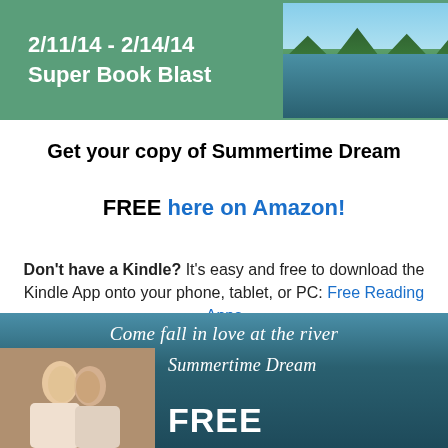[Figure (illustration): Green banner with text '2/11/14 - 2/14/14 Super Book Blast' on the left and a nature/lake photo on the right]
Get your copy of Summertime Dream
FREE here on Amazon!
Don't have a Kindle? It's easy and free to download the Kindle App onto your phone, tablet, or PC: Free Reading Apps
[Figure (illustration): Bottom banner for Summertime Dream book promotion showing a couple kissing on the left, text 'Come fall in love at the river', 'Summertime Dream', and 'FREE' on a river/water background]